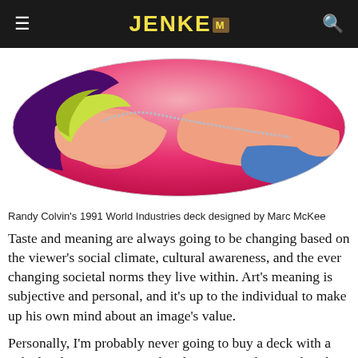JENKEM
[Figure (illustration): Randy Colvin's 1991 World Industries skateboard deck designed by Marc McKee, showing a pop-art style illustration of a reclining nude woman with blonde hair wearing a pearl necklace, on a pink background, shaped as a skateboard deck.]
Randy Colvin's 1991 World Industries deck designed by Marc McKee
Taste and meaning are always going to be changing based on the viewer's social climate, cultural awareness, and the ever changing societal norms they live within. Art's meaning is subjective and personal, and it's up to the individual to make up his own mind about an image's value.
Personally, I'm probably never going to buy a deck with a naked girl or guy on it, as that doesn't appeal to me, but that doesn't necessarily mean it's valueless. Context is key for an individual to engage with an image's meaning, and the